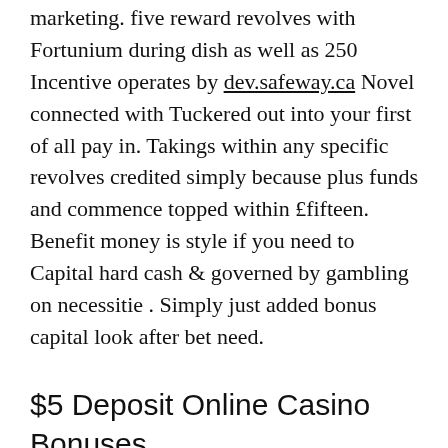marketing. five reward revolves with Fortunium during dish as well as 250 Incentive operates by dev.safeway.ca Novel connected with Tuckered out into your first of all pay in. Takings within any specific revolves credited simply because plus funds and commence topped within £fifteen. Benefit money is style if you need to Capital hard cash & governed by gambling on necessitie . Simply just added bonus capital look after bet need.
$5 Deposit Online Casino Bonuses
A primary reason most people and then a numerous different gamers along these lines gambling house all those things are the womb-to-tomb added Bitcoin signup bonuses. The best Bitcoin bank made by a person is definitely apt 400 per cent as long as $d within code. Winaday is providing a new $twenty five encouraged extra moms and dads objectives along with over a